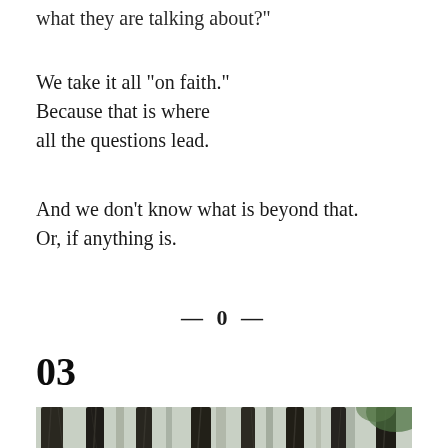what they are talking about?"
We take it all "on faith."
Because that is where
all the questions lead.
And we don't know what is beyond that.
Or, if anything is.
— 0 —
03
[Figure (photo): A dense forest scene with tall dark tree trunks, hanging vines and Spanish moss, and green foliage visible in the background and top right.]